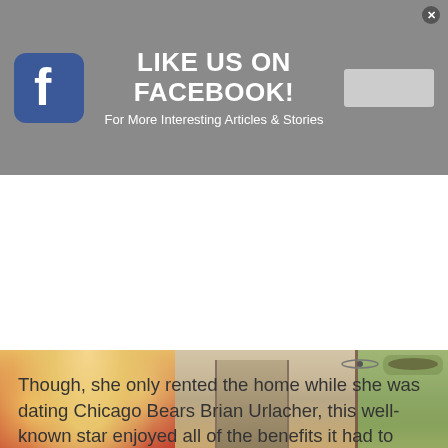[Figure (other): Facebook 'Like Us' promotional banner with Facebook icon on the left, 'LIKE US ON FACEBOOK! For More Interesting Articles & Stories' text in center, a gray button area on the right, and a close (x) button in the top-right corner. Background is gray.]
[Figure (photo): Two side-by-side photos: left shows a blonde woman in a red outfit; right shows a home interior with hardwood floors, a stone fireplace, wooden furniture, ceiling fan, and large windows.]
Though, she only rented the home while she was dating Chicago Bears Brian Urlacher, this well-known star enjoyed all of the benefits it had to offer. Maybe you're thinking it's on Lake Geneva, but this Chicago sports fan purchased this property in Geneva, Illinois. When it sold in 2014, the